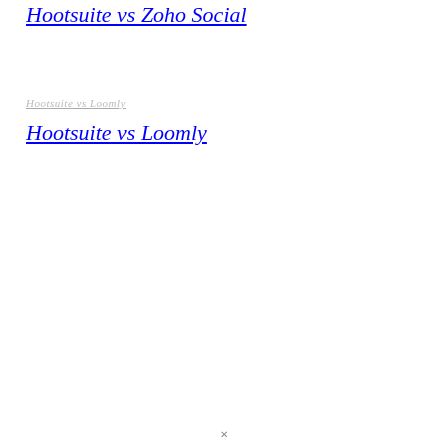Hootsuite vs Zoho Social
Hootsuite vs Loomly